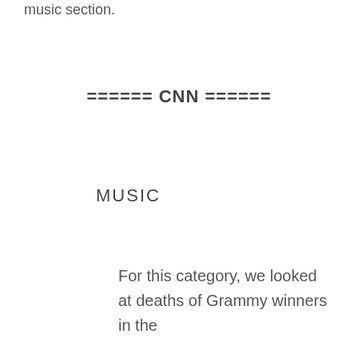music section.
====== CNN ======
MUSIC
For this category, we looked at deaths of Grammy winners in the